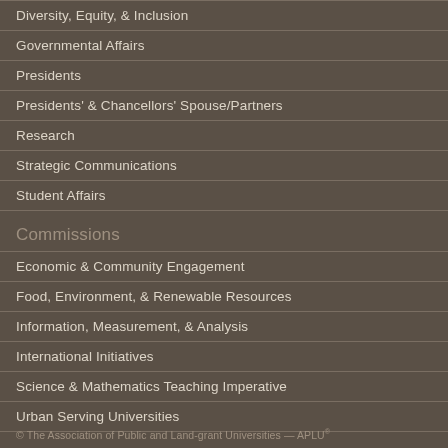Diversity, Equity, & Inclusion
Governmental Affairs
Presidents
Presidents' & Chancellors' Spouse/Partners
Research
Strategic Communications
Student Affairs
Commissions
Economic & Community Engagement
Food, Environment, & Renewable Resources
Information, Measurement, & Analysis
International Initiatives
Science & Mathematics Teaching Imperative
Urban Serving Universities
© The Association of Public and Land-grant Universities — APLU®